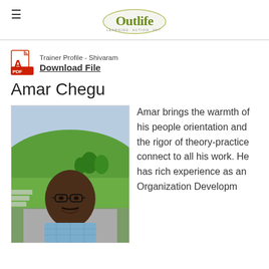Outlife — LEARNING. ACTION. JOY.
Trainer Profile - Shivaram
Download File
Amar Chegu
[Figure (photo): Headshot photo of Amar Chegu, a man wearing glasses and a blue checked shirt, standing outdoors with a green hillside and trees in the background.]
Amar brings the warmth of his people orientation and the rigor of theory-practice connect to all his work. He has rich experience as an Organization Developm